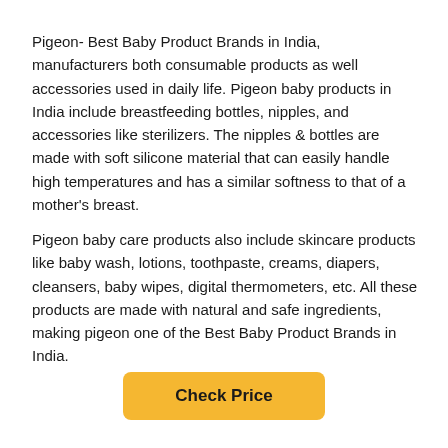Pigeon- Best Baby Product Brands in India, manufacturers both consumable products as well accessories used in daily life. Pigeon baby products in India include breastfeeding bottles, nipples, and accessories like sterilizers. The nipples & bottles are made with soft silicone material that can easily handle high temperatures and has a similar softness to that of a mother's breast.
Pigeon baby care products also include skincare products like baby wash, lotions, toothpaste, creams, diapers, cleansers, baby wipes, digital thermometers, etc. All these products are made with natural and safe ingredients, making pigeon one of the Best Baby Product Brands in India.
Check Price